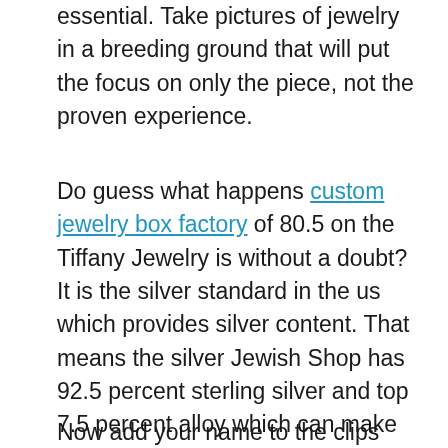essential. Take pictures of jewelry in a breeding ground that will put the focus on only the piece, not the proven experience.
Do guess what happens custom jewelry box factory of 80.5 on the Tiffany Jewelry is without a doubt? It is the silver standard in the us which provides silver content. That means the silver Jewish Shop has 92.5 percent sterling silver and top 7.5 percent alloy which can make the jewelry considerably more durable. In the Tiffany Jewelry store, all the jewelry delivers the mark of the brand logo “Tiffany & Corp.” and others have the graven 92.5 mark inside on the rings, charms or bangles, the clasp of necklaces or jewellery. The jewelry without any marks must be unreal your actual. And the mark often is marked so as.925.
Now add your name to the clips along with a great personalized Judaica gift, both useful and fitting for